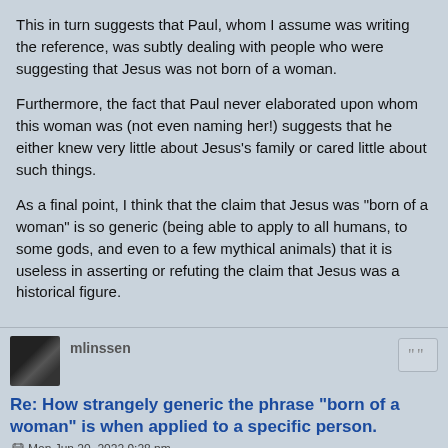This in turn suggests that Paul, whom I assume was writing the reference, was subtly dealing with people who were suggesting that Jesus was not born of a woman.
Furthermore, the fact that Paul never elaborated upon whom this woman was (not even naming her!) suggests that he either knew very little about Jesus's family or cared little about such things.
As a final point, I think that the claim that Jesus was "born of a woman" is so generic (being able to apply to all humans, to some gods, and even to a few mythical animals) that it is useless in asserting or refuting the claim that Jesus was a historical figure.
mlinssen
Re: How strangely generic the phrase "born of a woman" is when applied to a specific person.
Mon Jun 20, 2022 9:28 pm
46. IS said: starting from Adam toward Johannes the Immerser, in the births of the women there is not he who exalted to Johannes the Immerser. So that his eyes will not break, I said it However; he who will